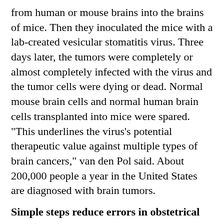from human or mouse brains into the brains of mice. Then they inoculated the mice with a lab-created vesicular stomatitis virus. Three days later, the tumors were completely or almost completely infected with the virus and the tumor cells were dying or dead. Normal mouse brain cells and normal human brain cells transplanted into mice were spared. "This underlines the virus's potential therapeutic value against multiple types of brain cancers," van den Pol said. About 200,000 people a year in the United States are diagnosed with brain tumors.
Simple steps reduce errors in obstetrical care
New patient-safety measures developed by researchers at the School of Medicine and implemented at Yale-New Haven Hospital are paying off. The interventions -- designed to reduce